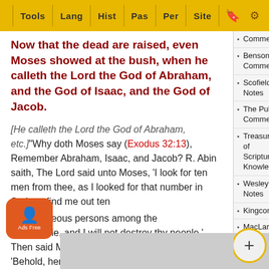Tools | Lang | Hist | Pas | Per | Site
Now that the dead are raised, even Moses showed at the bush, when he calleth the Lord the God of Abraham, and the God of Isaac, and the God of Jacob.
[He calleth the Lord the God of Abraham, etc.]"Why doth Moses say (Exodus 32:13), Remember Abraham, Isaac, and Jacob? R. Abin saith, The Lord said unto Moses, 'I look for ten men from thee, as I looked for that number in Sodom: find me out ten righteous persons among the people, and I will not destroy thy people.' Then said Moses, 'Behold, here am I, and Aaron, and Eleazar, and Ithamar, and Phinehas...(text continues)...but se...(text continues)...ew
Commentary
Benson's Commentary
Scofield's Notes
The Pulpit Commentaries
Treasury of Scripture Knowledge
Wesley's Notes
Kingcomments
MacLaren's Expositions
Henry's Concise
New Testament
Gospels Only
Individual Book